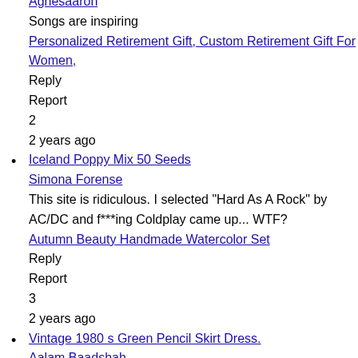Agnesaaron
Songs are inspiring
Personalized Retirement Gift, Custom Retirement Gift For Women,
Reply
Report
2
2 years ago
Iceland Poppy Mix 50 Seeds
Simona Forense
This site is ridiculous. I selected "Hard As A Rock" by AC/DC and f***ing Coldplay came up... WTF?
Autumn Beauty Handmade Watercolor Set
Reply
Report
3
2 years ago
Vintage 1980 s Green Pencil Skirt Dress.
Aalam Baadshah
AALAM
Large Photo Album with a variety of colours you#39;ll love. Cus
Reply
Report
2 years ago
Press ribbon and 12X11mm 19mm inners with loop ou...